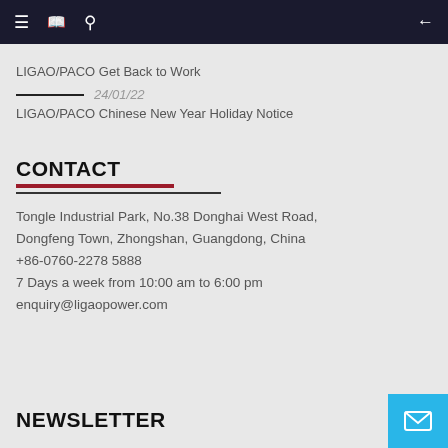Navigation bar with menu, bookmark, search icons and back arrow
LIGAO/PACO Get Back to Work
24/01/22
LIGAO/PACO Chinese New Year Holiday Notice
CONTACT
Tongle Industrial Park, No.38 Donghai West Road, Dongfeng Town, Zhongshan, Guangdong, China
+86-0760-2278 5888
7 Days a week from 10:00 am to 6:00 pm
enquiry@ligaopower.com
NEWSLETTER